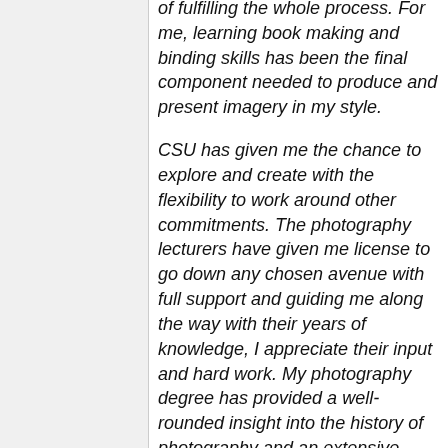of fulfilling the whole process. For me, learning book making and binding skills has been the final component needed to produce and present imagery in my style.
CSU has given me the chance to explore and create with the flexibility to work around other commitments. The photography lecturers have given me license to go down any chosen avenue with full support and guiding me along the way with their years of knowledge, I appreciate their input and hard work. My photography degree has provided a well-rounded insight into the history of photography and an extensive understanding of contemporary photography practice.